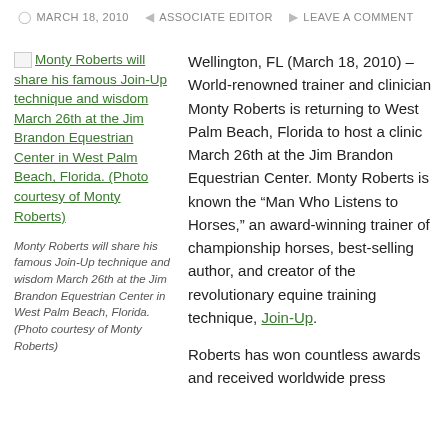MARCH 18, 2010  ASSOCIATE EDITOR  LEAVE A COMMENT
[Figure (photo): Broken image placeholder for photo of Monty Roberts at Jim Brandon Equestrian Center]
Monty Roberts will share his famous Join-Up technique and wisdom March 26th at the Jim Brandon Equestrian Center in West Palm Beach, Florida. (Photo courtesy of Monty Roberts)
Monty Roberts will share his famous Join-Up technique and wisdom March 26th at the Jim Brandon Equestrian Center in West Palm Beach, Florida. (Photo courtesy of Monty Roberts)
Wellington, FL (March 18, 2010) – World-renowned trainer and clinician Monty Roberts is returning to West Palm Beach, Florida to host a clinic March 26th at the Jim Brandon Equestrian Center. Monty Roberts is known the “Man Who Listens to Horses,” an award-winning trainer of championship horses, best-selling author, and creator of the revolutionary equine training technique, Join-Up.
Roberts has won countless awards and received worldwide press